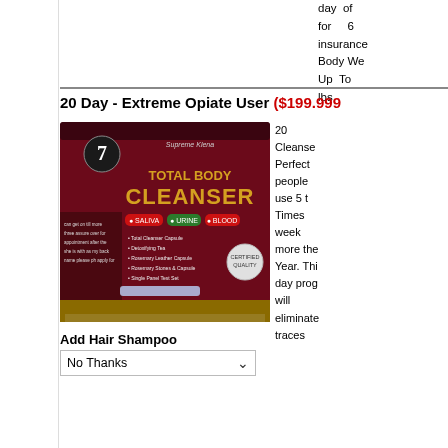day of for insurance Body We Up To lbs
20 Day - Extreme Opiate User ($199.999)
[Figure (photo): Product box for Supreme Klean Total Body Cleanser, a dark red/maroon box with the number 7 on it, showing SALIVA, URINE, BLOOD test capabilities]
20 Cleanse Perfect people use 5 t Times week more the Year. Thi day prog will eliminate traces
Add Hair Shampoo
No Thanks